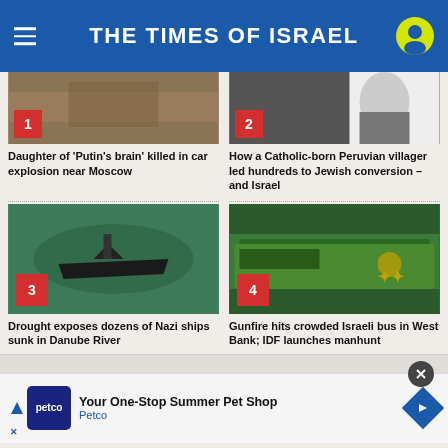THE TIMES OF ISRAEL
[Figure (photo): News article image 1 with red number badge '1']
Daughter of 'Putin's brain' killed in car explosion near Moscow
[Figure (photo): News article image 2 with red number badge '2']
How a Catholic-born Peruvian villager led hundreds to Jewish conversion – and Israel
[Figure (photo): News article image 3 showing sunken ship in river with red number badge '3']
Drought exposes dozens of Nazi ships sunk in Danube River
[Figure (photo): News article image 4 showing Israeli bus with red number badge '4']
Gunfire hits crowded Israeli bus in West Bank; IDF launches manhunt
Your One-Stop Summer Pet Shop
Petco